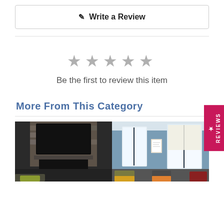✎ Write a Review
[Figure (other): Five gray star icons representing a rating]
Be the first to review this item
More From This Category
[Figure (photo): Two interior room photos side by side: left shows a dark fireplace with stone surround and TV above, right shows a bright blue-walled room with large windows and colorful chairs]